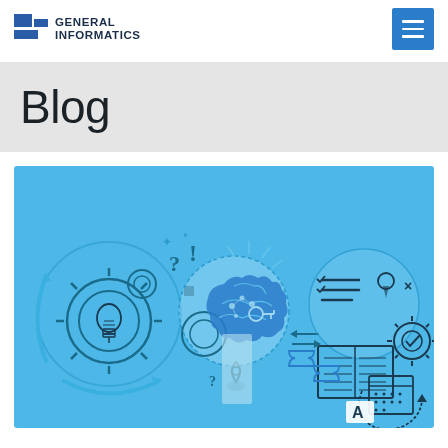[Figure (logo): General Informatics logo with blue square grid icon and company name]
Blog
[Figure (illustration): Blue banner illustration showing interconnected concepts: gears with a lightbulb, question marks, a cloud brain with neural network, arrows, puzzle pieces, an open book, calendar, checklist, and the letter A — representing knowledge management and information technology themes.]